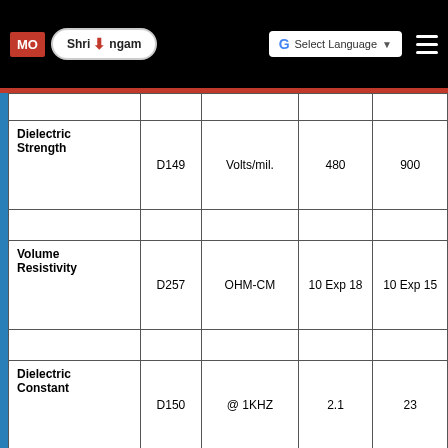[Figure (logo): MO and Shrirangam company logos on black navigation bar with Select Language button and hamburger menu]
| Property | ASTM | Units | Value 1 | Value 2 |
| --- | --- | --- | --- | --- |
|  |  |  |  |  |
| Dielectric Strength | D149 | Volts/mil. | 480 | 900 |
|  |  |  |  |  |
| Volume Resistivity | D257 | OHM-CM | 10 Exp 18 | 10 Exp 15 |
|  |  |  |  |  |
| Dielectric Constant | D150 | @ 1KHZ | 2.1 | 23 |
|  |  |  |  |  |
| Water Absorption | D570 | 24 hrs @73°F. | <.01 | NIL |